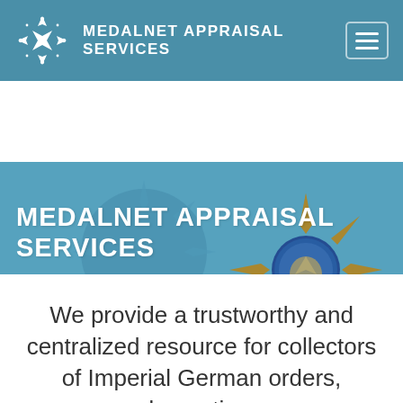MEDALNET APPRAISAL SERVICES
MEDALNET APPRAISAL SERVICES
ANDREAS SCHULZE ISING • BERND KRUSE
[Figure (photo): Hero banner with medals and decorations in blue-tinted background, featuring a prominent gold star medal in the lower right]
We provide a trustworthy and centralized resource for collectors of Imperial German orders, decorations